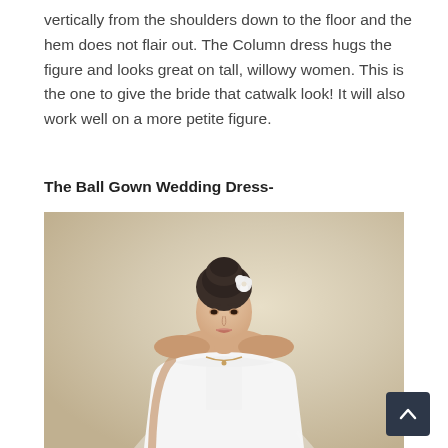vertically from the shoulders down to the floor and the hem does not flair out. The Column dress hugs the figure and looks great on tall, willowy women. This is the one to give the bride that catwalk look! It will also work well on a more petite figure.
The Ball Gown Wedding Dress-
[Figure (photo): A bride wearing a white strapless ball gown wedding dress with a beaded/lace bodice and a full tulle skirt. She has an updo hairstyle with a white flower accessory and wears a necklace. The background is a warm beige/tan gradient.]